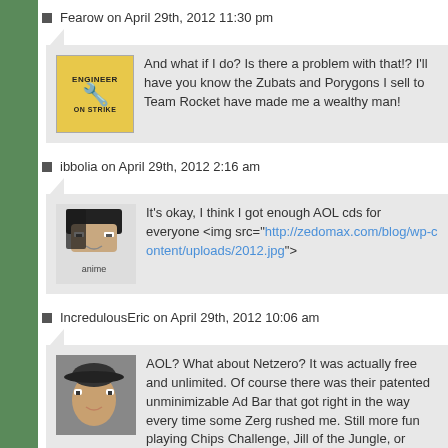Fearow on April 29th, 2012 11:30 pm
And what if I do? Is there a problem with that!? I'll have you know the Zubats and Porygons I sell to Team Rocket have made me a wealthy man!
ibbolia on April 29th, 2012 2:16 am
It's okay, I think I got enough AOL cds for everyone <img src="http://zedomax.com/blog/wp-content/uploads/2012.jpg">&gt;
IncredulousEric on April 29th, 2012 10:06 am
AOL? What about Netzero? It was actually free and unlimited. Of course there was their patented unminimizable Ad Bar that got right in the way every time some Zerg rushed me. Still more fun playing Chips Challenge, Jill of the Jungle, or Doom on my... take that back, Doom is still fun.
Deep Thought on April 29th, 2012 7:12 am
Oh my God, dial up.